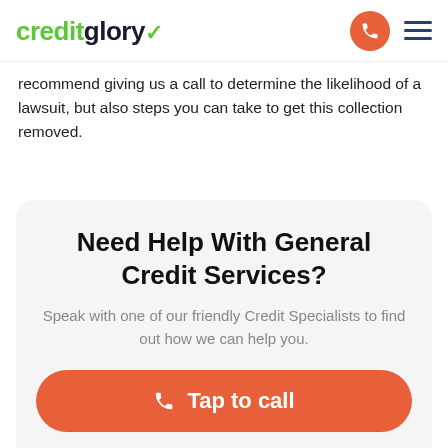creditglory (logo) | phone button | menu
recommend giving us a call to determine the likelihood of a lawsuit, but also steps you can take to get this collection removed.
Need Help With General Credit Services?
Speak with one of our friendly Credit Specialists to find out how we can help you.
Tap to call
Trustpilot